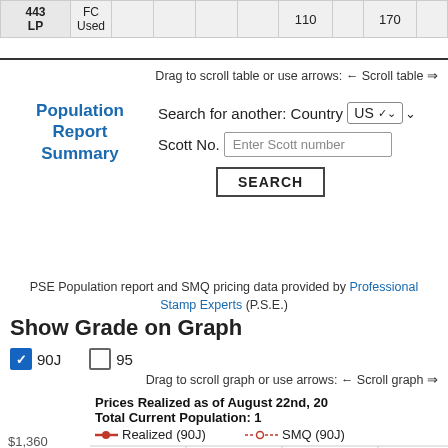| 443 LP | FC Used |  |  |  |  | 110 |  | 170 |  |
| --- | --- | --- | --- | --- | --- | --- | --- | --- | --- |
|  |
Drag to scroll table or use arrows: ← Scroll table ⇒
Population Report Summary
Search for another: Country US ▾
Scott No. Enter Scott number
SEARCH
PSE Population report and SMQ pricing data provided by Professional Stamp Experts (P.S.E.)
Show Grade on Graph
☑ 90J   ☐ 95
Drag to scroll graph or use arrows: ← Scroll graph ⇒
[Figure (line-chart): Line chart showing Realized (90J) and SMQ (90J) prices over time. Y-axis shows $1,360 visible. Legend shows red solid line for Realized (90J) and red dotted line for SMQ (90J).]